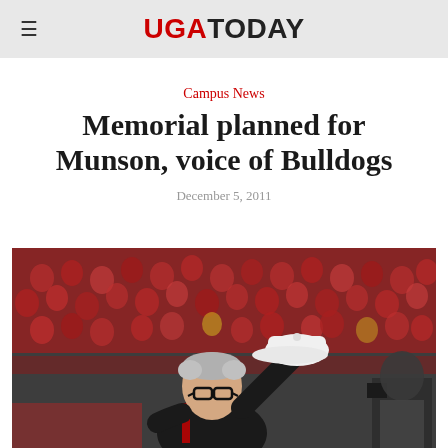UGA TODAY
Campus News
Memorial planned for Munson, voice of Bulldogs
December 5, 2011
[Figure (photo): An elderly man wearing glasses and a black jacket with red trim holds a white cap aloft, saluting a large crowd in a stadium filled predominantly with red-clad fans. A camera operator is visible at the right edge.]